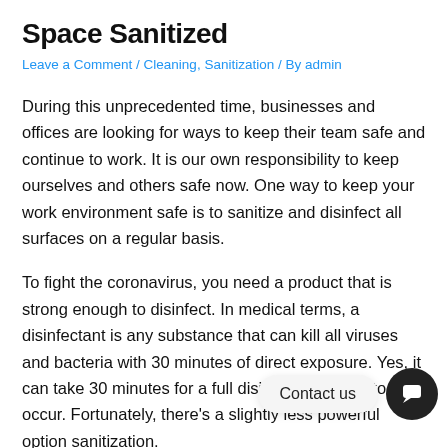Space Sanitized
Leave a Comment / Cleaning, Sanitization / By admin
During this unprecedented time, businesses and offices are looking for ways to keep their team safe and continue to work. It is our own responsibility to keep ourselves and others safe now. One way to keep your work environment safe is to sanitize and disinfect all surfaces on a regular basis.
To fight the coronavirus, you need a product that is strong enough to disinfect. In medical terms, a disinfectant is any substance that can kill all viruses and bacteria with 30 minutes of direct exposure. Yes, it can take 30 minutes for a full disinfectant round to occur. Fortunately, there's a slightly less powerful option sanitization.
A sanitizing substance is anything that kills 99.9% of